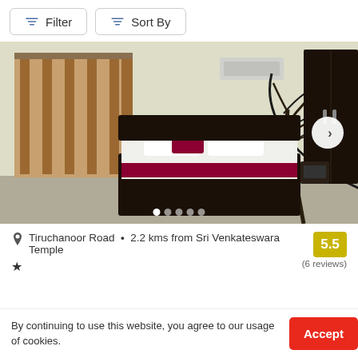Filter
Sort By
[Figure (photo): Hotel room interior with a double bed with white and dark red/maroon bedding, dark wood headboard, gold/brown patterned curtains on the left, a wall mural of a black tree with birds, a dark wood wardrobe on the right, and a wall-mounted AC unit. A circular next-arrow button is visible on the right side.]
Tiruchanoor Road  •  2.2 kms from Sri Venkateswara Temple
5.5
(6 reviews)
★
By continuing to use this website, you agree to our usage of cookies.
Accept